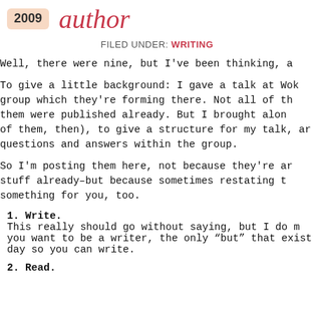2009 author
FILED UNDER: WRITING
Well, there were nine, but I've been thinking, a
To give a little background: I gave a talk at Wok group which they're forming there. Not all of th them were published already. But I brought alon of them, then), to give a structure for my talk, ar questions and answers within the group.
So I'm posting them here, not because they're ar stuff already—but because sometimes restating t something for you, too.
1. Write. This really should go without saying, but I do m you want to be a writer, the only "but" that exist day so you can write.
2. Read.